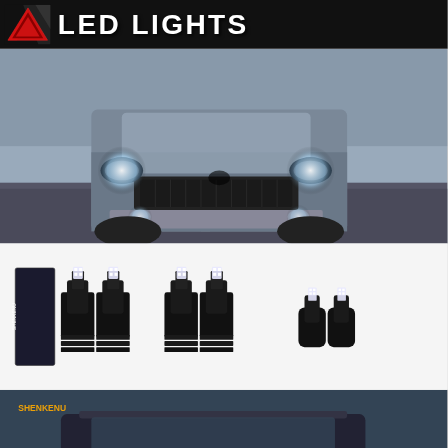[Figure (logo): LED Lights brand logo with red triangle/arrow design on dark background header bar with text 'LED LIGHTS']
[Figure (photo): Front view of silver Nissan Armada/Titan SUV driving on road with bright white LED headlights illuminated, trees in background]
[Figure (photo): Collection of LED light bulbs including 4 large 9005/9006 type bulbs and 2 smaller H11 fog light bulbs on white background]
[Figure (photo): Front view of black Nissan Armada/Titan SUV at night or dusk with bright ice blue LED headlights and fog lights glowing, SHENKENU brand watermark visible]